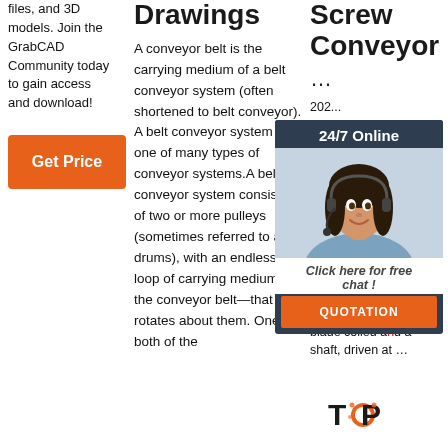files, and 3D models. Join the GrabCAD Community today to gain access and download!
Get Price
Drawings
A conveyor belt is the carrying medium of a belt conveyor system (often shortened to belt conveyor). A belt conveyor system is one of many types of conveyor systems.A belt conveyor system consists of two or more pulleys (sometimes referred to as drums), with an endless loop of carrying medium—the conveyor belt—that rotates about them. One or both of the
Screw Conveyor
...
202... 7u2... Cen... conv... vers... num... cem... conv... batch... usually consists of a tube containing rotating helical screw blade coiled around a shaft, driven at ...
[Figure (photo): Live chat widget with woman wearing headset, dark background header '24/7 Online', italic text 'Click here for free chat!', orange QUOTATION button]
[Figure (logo): TOP logo with decorative dots]